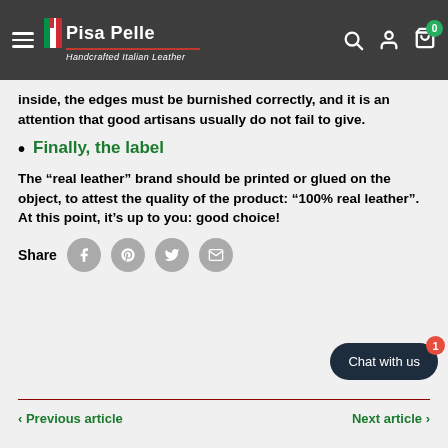Pisa Pelle — Handcrafted Italian Leather
inside, the edges must be burnished correctly, and it is an attention that good artisans usually do not fail to give.
Finally, the label
The “real leather” brand should be printed or glued on the object, to attest the quality of the product: “100% real leather”. At this point, it’s up to you: good choice!
Share
Previous article   Next article